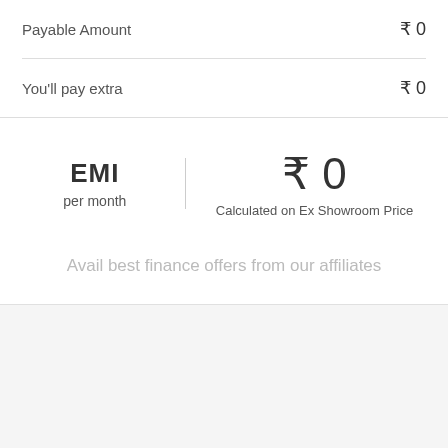Payable Amount  ₹ 0
You'll pay extra  ₹ 0
EMI per month  ₹ 0  Calculated on Ex Showroom Price
Avail best finance offers from our affiliates